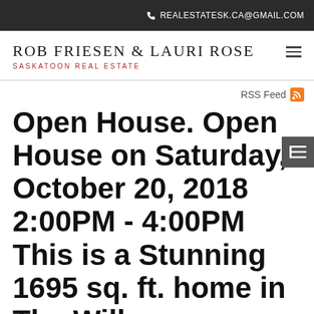REALESTATESK.CA@GMAIL.COM
ROB FRIESEN & LAURI ROSE SASKATOON REAL ESTATE
RSS Feed
Open House. Open House on Saturday, October 20, 2018 2:00PM - 4:00PM This is a Stunning 1695 sq. ft. home in The Willows